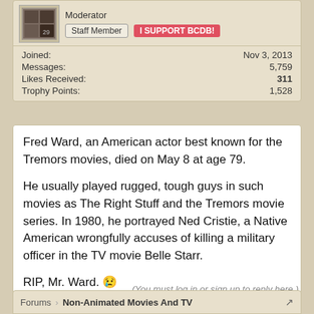Moderator
Staff Member | I SUPPORT BCDB!
| Field | Value |
| --- | --- |
| Joined: | Nov 3, 2013 |
| Messages: | 5,759 |
| Likes Received: | 311 |
| Trophy Points: | 1,528 |
Fred Ward, an American actor best known for the Tremors movies, died on May 8 at age 79.

He usually played rugged, tough guys in such movies as The Right Stuff and the Tremors movie series. In 1980, he portrayed Ned Cristie, a Native American wrongfully accuses of killing a military officer in the TV movie Belle Starr.

RIP, Mr. Ward. 😢
May 14, 2022
(You must log in or sign up to reply here.)
Forums › Non-Animated Movies And TV